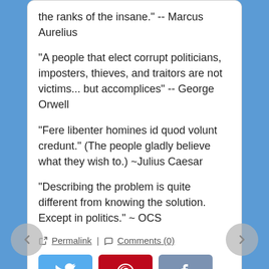the ranks of the insane." -- Marcus Aurelius
“A people that elect corrupt politicians, imposters, thieves, and traitors are not victims... but accomplices” -- George Orwell
“Fere libenter homines id quod volunt credunt.” (The people gladly believe what they wish to.) ~Julius Caesar
“Describing the problem is quite different from knowing the solution. Except in politics.” ~ OCS
🔗 Permalink | 💬 Comments (0)